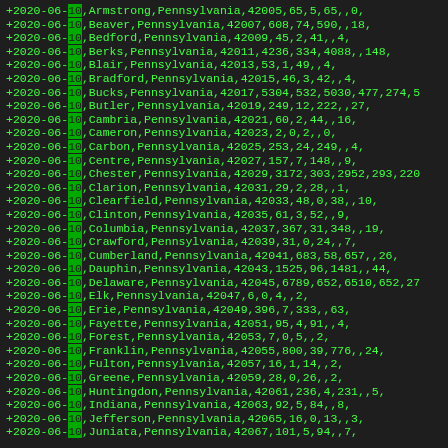+2020-06-10,Armstrong,Pennsylvania,42005,65,5,65,,0,
+2020-06-10,Beaver,Pennsylvania,42007,608,74,590,,18,
+2020-06-10,Bedford,Pennsylvania,42009,45,2,41,,4,
+2020-06-10,Berks,Pennsylvania,42011,4236,334,4088,,148,
+2020-06-10,Blair,Pennsylvania,42013,53,1,49,,4,
+2020-06-10,Bradford,Pennsylvania,42015,46,3,42,,4,
+2020-06-10,Bucks,Pennsylvania,42017,5304,532,5030,477,274,5
+2020-06-10,Butler,Pennsylvania,42019,249,12,222,,27,
+2020-06-10,Cambria,Pennsylvania,42021,60,2,44,,16,
+2020-06-10,Cameron,Pennsylvania,42023,2,0,2,,0,
+2020-06-10,Carbon,Pennsylvania,42025,253,24,249,,4,
+2020-06-10,Centre,Pennsylvania,42027,157,7,148,,9,
+2020-06-10,Chester,Pennsylvania,42029,3172,303,2952,293,220
+2020-06-10,Clarion,Pennsylvania,42031,29,2,28,,1,
+2020-06-10,Clearfield,Pennsylvania,42033,48,0,38,,10,
+2020-06-10,Clinton,Pennsylvania,42035,61,3,52,,9,
+2020-06-10,Columbia,Pennsylvania,42037,367,31,348,,19,
+2020-06-10,Crawford,Pennsylvania,42039,31,0,24,,7,
+2020-06-10,Cumberland,Pennsylvania,42041,683,58,657,,26,
+2020-06-10,Dauphin,Pennsylvania,42043,1525,96,1481,,44,
+2020-06-10,Delaware,Pennsylvania,42045,6789,652,6510,652,27
+2020-06-10,Elk,Pennsylvania,42047,6,0,4,,2,
+2020-06-10,Erie,Pennsylvania,42049,396,7,333,,63,
+2020-06-10,Fayette,Pennsylvania,42051,95,4,91,,4,
+2020-06-10,Forest,Pennsylvania,42053,7,0,5,,2,
+2020-06-10,Franklin,Pennsylvania,42055,800,39,776,,24,
+2020-06-10,Fulton,Pennsylvania,42057,16,1,14,,2,
+2020-06-10,Greene,Pennsylvania,42059,28,0,26,,2,
+2020-06-10,Huntingdon,Pennsylvania,42061,236,4,231,,5,
+2020-06-10,Indiana,Pennsylvania,42063,92,5,84,,8,
+2020-06-10,Jefferson,Pennsylvania,42065,16,0,13,,3,
+2020-06-10,Juniata,Pennsylvania,42067,101,5,94,,7,